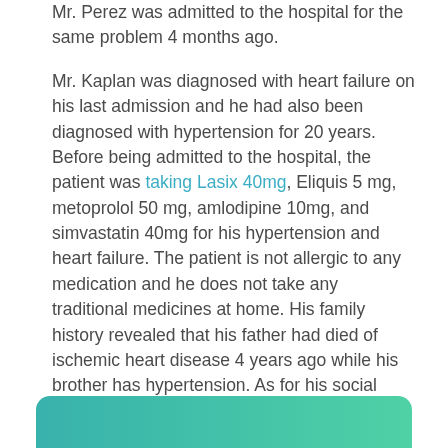Mr. Perez was admitted to the hospital for the same problem 4 months ago.

Mr. Kaplan was diagnosed with heart failure on his last admission and he had also been diagnosed with hypertension for 20 years. Before being admitted to the hospital, the patient was taking Lasix 40mg, Eliquis 5 mg, metoprolol 50 mg, amlodipine 10mg, and simvastatin 40mg for his hypertension and heart failure. The patient is not allergic to any medication and he does not take any traditional medicines at home. His family history revealed that his father had died of ischemic heart disease 4 years ago while his brother has hypertension. As for his social history, he smoked 2-3 cigarettes a day for 35 years and the calculated smoking pack-years was 5 pack years. Besides, Mr. Kaplan also drinks occasionally.